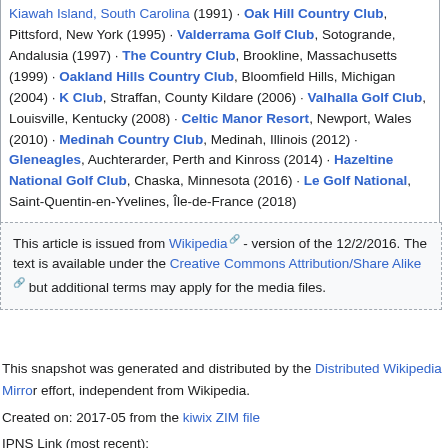Kiawah Island, South Carolina (1991) · Oak Hill Country Club, Pittsford, New York (1995) · Valderrama Golf Club, Sotogrande, Andalusia (1997) · The Country Club, Brookline, Massachusetts (1999) · Oakland Hills Country Club, Bloomfield Hills, Michigan (2004) · K Club, Straffan, County Kildare (2006) · Valhalla Golf Club, Louisville, Kentucky (2008) · Celtic Manor Resort, Newport, Wales (2010) · Medinah Country Club, Medinah, Illinois (2012) · Gleneagles, Auchterarder, Perth and Kinross (2014) · Hazeltine National Golf Club, Chaska, Minnesota (2016) · Le Golf National, Saint-Quentin-en-Yvelines, Île-de-France (2018)
This article is issued from Wikipedia - version of the 12/2/2016. The text is available under the Creative Commons Attribution/Share Alike but additional terms may apply for the media files.
This snapshot was generated and distributed by the Distributed Wikipedia Mirror effort, independent from Wikipedia.
Created on: 2017-05 from the kiwix ZIM file
IPNS Link (most recent): /ipns/QmdJiuMWp2FxyaerfLrtdLF6Nr1EWpL7dPAx